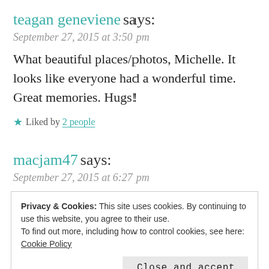teagan geneviene says:
September 27, 2015 at 3:50 pm
What beautiful places/photos, Michelle. It looks like everyone had a wonderful time. Great memories. Hugs!
★ Liked by 2 people
macjam47 says:
September 27, 2015 at 6:27 pm
Privacy & Cookies: This site uses cookies. By continuing to use this website, you agree to their use.
To find out more, including how to control cookies, see here:
Cookie Policy
Close and accept
September 27, 2015 at 1:12